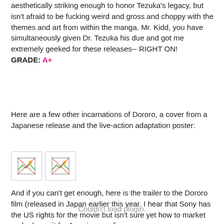aesthetically striking enough to honor Tezuka's legacy, but isn't afraid to be fucking weird and gross and choppy with the themes and art from within the manga. Mr. Kidd, you have simultaneously given Dr. Tezuka his due and got me extremely geeked for these releases-- RIGHT ON!
GRADE: A+
Here are a few other incarnations of Dororo, a cover from a Japanese release and the live-action adaptation poster:
[Figure (photo): Two broken/missing image placeholders shown side by side]
And if you can't get enough, here is the trailer to the Dororo film (released in Japan earlier this year. I hear that Sony has the US rights for the movie but isn't sure yet how to market and release it for American audiences...
Couldn't load plugin.